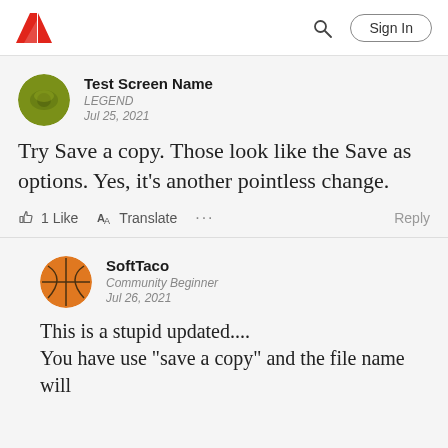Adobe community forum header with Adobe logo, search icon, and Sign In button
Test Screen Name
LEGEND
Jul 25, 2021
Try Save a copy. Those look like the Save as options. Yes, it's another pointless change.
1 Like   Translate   ...   Reply
SoftTaco
Community Beginner
Jul 26, 2021
This is a stupid updated....
You have use "save a copy" and the file name will